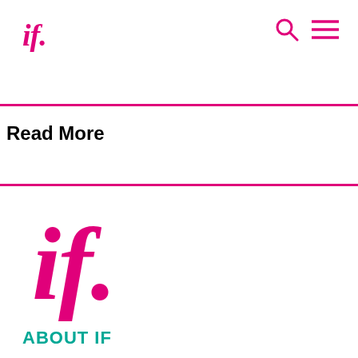if.
Read More
[Figure (logo): Large pink italic 'if.' logo]
ABOUT IF